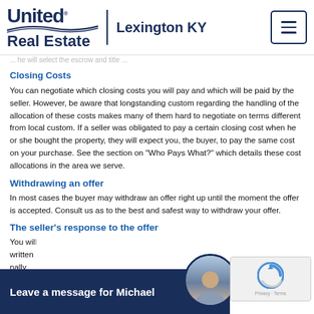United Real Estate | Lexington KY
Closing Costs
You can negotiate which closing costs you will pay and which will be paid by the seller. However, be aware that longstanding custom regarding the handling of the allocation of these costs makes many of them hard to negotiate on terms different from local custom. If a seller was obligated to pay a certain closing cost when he or she bought the property, they will expect you, the buyer, to pay the same cost on your purchase. See the section on "Who Pays What?" which details these cost allocations in the area we serve.
Withdrawing an offer
In most cases the buyer may withdraw an offer right up until the moment the offer is accepted. Consult us as to the best and safest way to withdraw your offer.
The seller's response to the offer
You wil... written... nally.
[Figure (photo): Agent headshot circle photo of Michael]
Leave a message for Michael